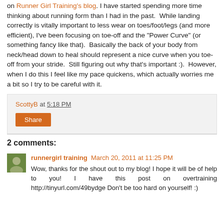on Runner Girl Training's blog. I have started spending more time thinking about running form than I had in the past. While landing correctly is vitally important to less wear on toes/foot/legs (and more efficient), I've been focusing on toe-off and the "Power Curve" (or something fancy like that). Basically the back of your body from neck/head down to heal should represent a nice curve when you toe-off from your stride. Still figuring out why that's important :). However, when I do this I feel like my pace quickens, which actually worries me a bit so I try to be careful with it.
ScottyB at 5:18 PM
Share
2 comments:
runnergirl training March 20, 2011 at 11:25 PM
Wow, thanks for the shout out to my blog! I hope it will be of help to you! I have this post on overtraining http://tinyurl.com/49bydge Don't be too hard on yourself! :)